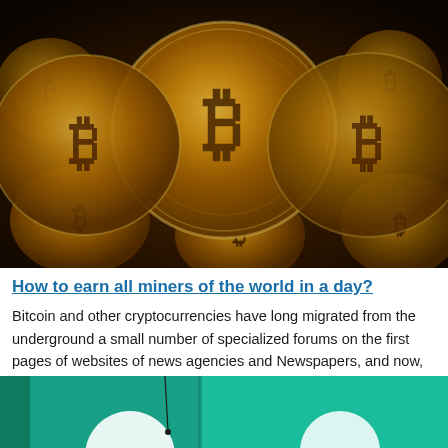[Figure (photo): Close-up photograph of multiple golden Bitcoin coins stacked and arranged, showing the Bitcoin symbol (₿) engraved on the coins against a dark background.]
How to earn all miners of the world in a day?
Bitcoin and other cryptocurrencies have long migrated from the underground a small number of specialized forums on the first pages of websites of news agencies and Newspapers, and now, quite often, be the main topic of discussion ...
[Figure (photo): Partial view of a green/teal background image with white circular elements, likely showing another article thumbnail.]